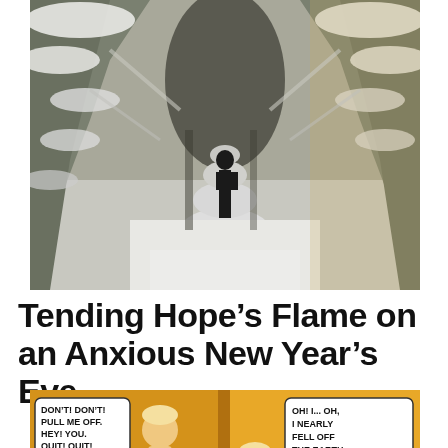[Figure (photo): A person in dark clothing walking away on a snow-covered forest path, flanked by snow-laden evergreen trees on both sides. Bright winter sunlight illuminates the scene.]
Tending Hope’s Flame on an Anxious New Year’s Eve
[Figure (illustration): A vintage comic strip panel showing a child labeled '1909' being grabbed, with speech bubbles: 'DON'T! DON'T! PULL ME OFF. HEY! YOU. QUIT! QUIT!' on the left panel, and 'OH! I... OH, I NEARLY FELL OFF THE EARTH WITH HIM!' on the right panel. The background is yellow/orange.]